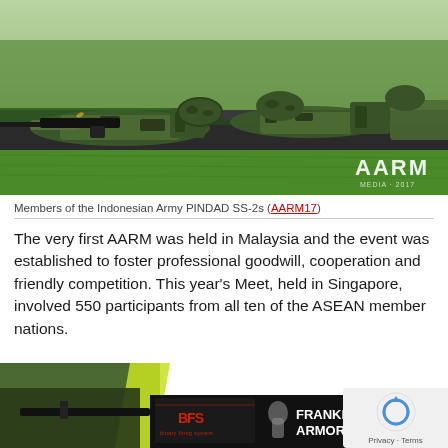[Figure (photo): Soldiers of the Indonesian Army lying prone on grass, aiming PINDAD SS-2 rifles at a shooting range. The AARM logo watermark is visible in the bottom right of the image.]
Members of the Indonesian Army PINDAD SS-2s (AARM17)
The very first AARM was held in Malaysia and the event was established to foster professional goodwill, cooperation and friendly competition. This year's Meet, held in Singapore, involved 550 participants from all ten of the ASEAN member nations.
[Figure (photo): Bottom portion showing a soldier aiming a rifle and a Franklin Armory advertisement banner with BFS logo, partially obscured by a reCAPTCHA privacy badge.]